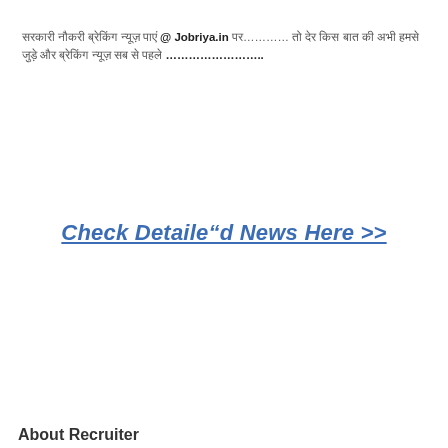सरकारी नौकरी ब्रेकिंग न्यूज़ पाएं @ Jobriya.in पर………… तो देर किस बात की अभी हमसे जुड़े और ब्रेकिंग न्यूज़ सब से पहले …………………..
Check Detailed News Here >>
About Recruiter